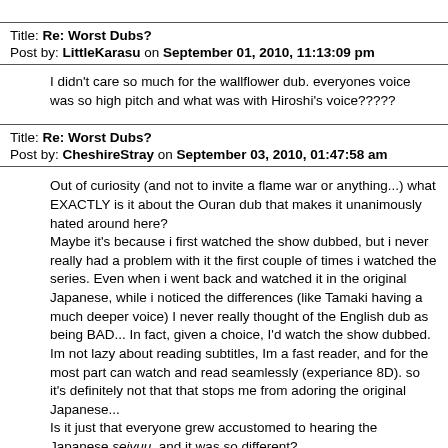Title: Re: Worst Dubs?
Post by: LittleKarasu on September 01, 2010, 11:13:09 pm
I didn't care so much for the wallflower dub. everyones voice was so high pitch and what was with Hiroshi's voice?????
Title: Re: Worst Dubs?
Post by: CheshireStray on September 03, 2010, 01:47:58 am
Out of curiosity (and not to invite a flame war or anything...) what EXACTLY is it about the Ouran dub that makes it unanimously hated around here?
Maybe it's because i first watched the show dubbed, but i never really had a problem with it the first couple of times i watched the series. Even when i went back and watched it in the original Japanese, while i noticed the differences (like Tamaki having a much deeper voice) I never really thought of the English dub as being BAD... In fact, given a choice, I'd watch the show dubbed.
Im not lazy about reading subtitles, Im a fast reader, and for the most part can watch and read seamlessly (experiance 8D). so it's definitely not that that stops me from adoring the original Japanese...
Is it just that everyone grew accustomed to hearing the Japanese seiyuu, and it was so different?
After all, I think I'm one of the only ones here who got on the Ouran train late enough to ever be ABLE to watch it Dubbed...